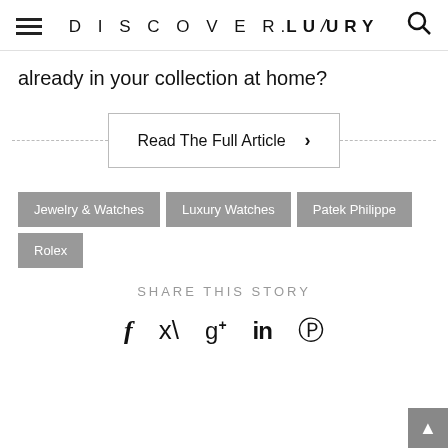DISCOVER.LUXURY
already in your collection at home?
Read The Full Article ›
Jewelry & Watches
Luxury Watches
Patek Philippe
Rolex
SHARE THIS STORY
f  twitter  g+  in  pinterest